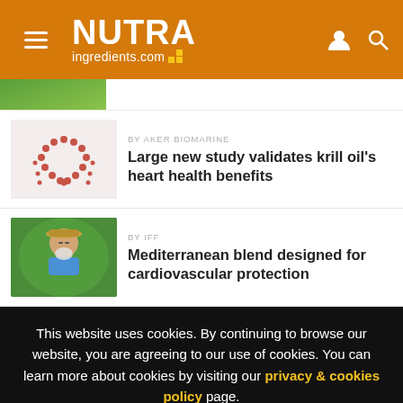NUTRAingredients.com
[Figure (photo): Partial view of a green food/nature image at the top of the article list]
BY AKER BIOMARINE
Large new study validates krill oil's heart health benefits
[Figure (photo): Red heart shape made from berries/seeds on white background]
BY IFF
Mediterranean blend designed for cardiovascular protection
[Figure (photo): Older man with white beard and hat outdoors in garden setting]
This website uses cookies. By continuing to browse our website, you are agreeing to our use of cookies. You can learn more about cookies by visiting our privacy & cookies policy page.
I Agree